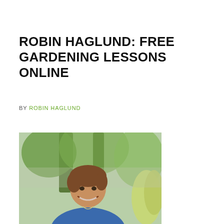ROBIN HAGLUND: FREE GARDENING LESSONS ONLINE
BY ROBIN HAGLUND
[Figure (photo): Portrait photo of Robin Haglund, a smiling woman with short brown hair, wearing a blue top, standing outdoors in a garden with trees and greenery in the background.]